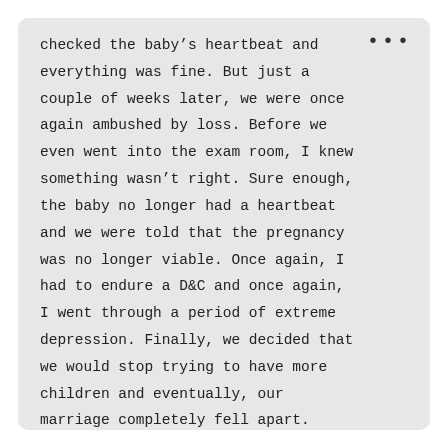checked the baby's heartbeat and everything was fine. But just a couple of weeks later, we were once again ambushed by loss. Before we even went into the exam room, I knew something wasn't right. Sure enough, the baby no longer had a heartbeat and we were told that the pregnancy was no longer viable. Once again, I had to endure a D&C and once again, I went through a period of extreme depression. Finally, we decided that we would stop trying to have more children and eventually, our marriage completely fell apart.